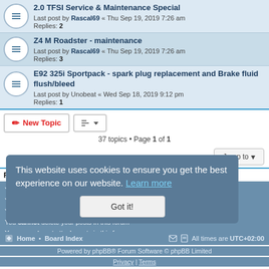2.0 TFSI Service & Maintenance Special — Last post by Rascal69 « Thu Sep 19, 2019 7:26 am — Replies: 2
Z4 M Roadster - maintenance — Last post by Rascal69 « Thu Sep 19, 2019 7:26 am — Replies: 3
E92 325i Sportpack - spark plug replacement and Brake fluid flush/bleed — Last post by Unobeat « Wed Sep 18, 2019 9:12 pm — Replies: 1
37 topics • Page 1 of 1
FORUM PERMISSIONS
You cannot post new topics in this forum
You cannot reply to topics in this forum
You cannot edit your posts in this forum
You cannot delete your posts in this forum
You cannot post attachments in this forum
This website uses cookies to ensure you get the best experience on our website. Learn more
Got it!
Home • Board Index — All times are UTC+02:00
Powered by phpBB® Forum Software © phpBB Limited
Privacy | Terms